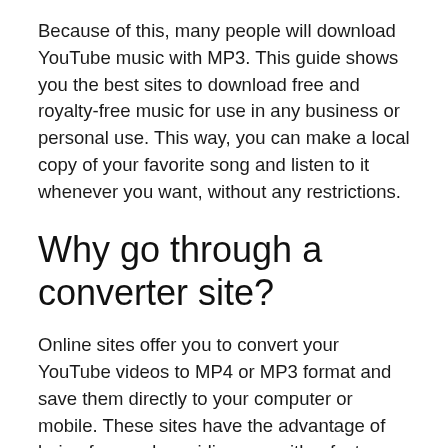Because of this, many people will download YouTube music with MP3. This guide shows you the best sites to download free and royalty-free music for use in any business or personal use. This way, you can make a local copy of your favorite song and listen to it whenever you want, without any restrictions.
Why go through a converter site?
Online sites offer you to convert your YouTube videos to MP4 or MP3 format and save them directly to your computer or mobile. These sites have the advantage of being free and providing you with a fast conversion of your videos. By going through a converter site, you are assured that your video will not lose